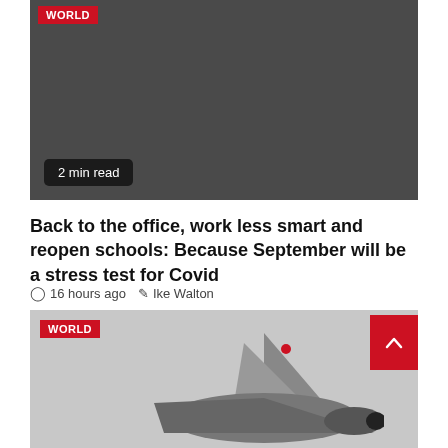[Figure (photo): Dark gray image area with WORLD badge and 2 min read overlay]
Back to the office, work less smart and reopen schools: Because September will be a stress test for Covid
16 hours ago  Ike Walton
[Figure (photo): Photo of military aircraft tail fins against gray sky, with WORLD badge and scroll-to-top button]